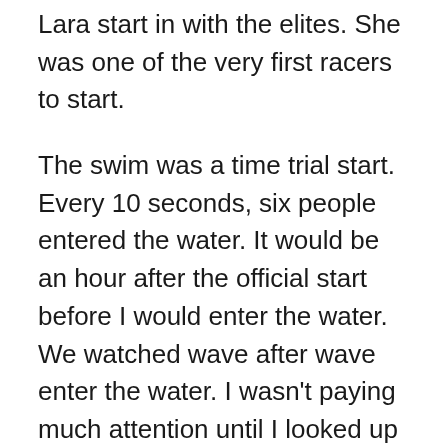Lara start in with the elites. She was one of the very first racers to start.
The swim was a time trial start. Every 10 seconds, six people entered the water. It would be an hour after the official start before I would enter the water. We watched wave after wave enter the water. I wasn't paying much attention until I looked up and realized my age group was at the start line. I barely made the start. I was the last group in my wave to start. So far, the race was not going well. I felt like a rookie.
Once I was in the water, I was warm again. I started to get into a rhythm. The swim was a 1.5k loop around Grey's Lake. It's always weird to swim in open water. In Hawaii, I could see fish and corral. Here, I could not see my hand in front of me. I passed several people on the swim, but it was always difficult because you could not see the other